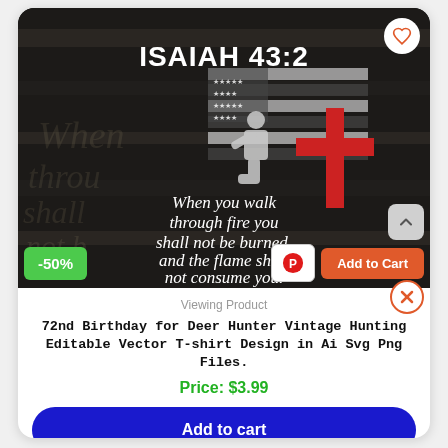[Figure (illustration): Dark background t-shirt design showing 'ISAIAH 43:2' text at top, an American flag silhouette with a soldier kneeling and a red cross, with text: 'When you walk through fire you shall not be burned, and the flame shall not consume you.']
Viewing Product
72nd Birthday for Deer Hunter Vintage Hunting Editable Vector T-shirt Design in Ai Svg Png Files.
Price: $3.99
Add to cart